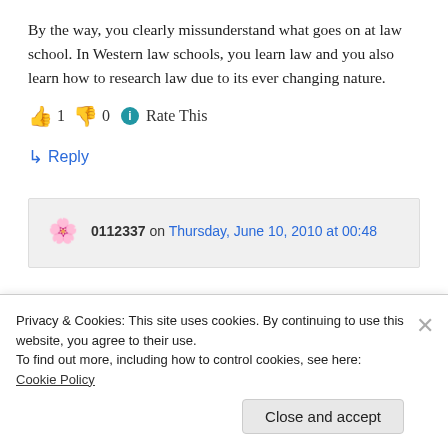By the way, you clearly missunderstand what goes on at law school. In Western law schools, you learn law and you also learn how to research law due to its ever changing nature.
👍 1 👎 0 ℹ Rate This
↳ Reply
0112337 on Thursday, June 10, 2010 at 00:48
Privacy & Cookies: This site uses cookies. By continuing to use this website, you agree to their use.
To find out more, including how to control cookies, see here: Cookie Policy
Close and accept